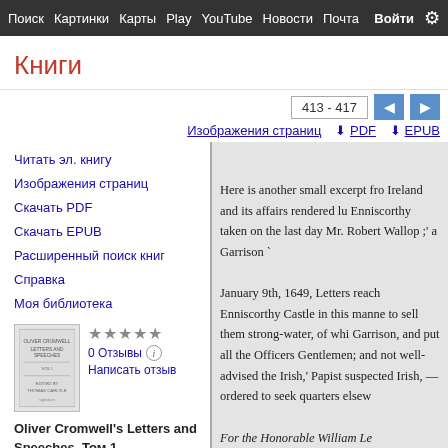Поиск  Картинки  Карты  Play  YouTube  Новости  Почта  Войти  Ещё  Войти
Книги
413 - 417
Изображения страниц   ↓ PDF   ↓ EPUB
Читать эл. книгу
Изображения страниц
Скачать PDF
Скачать EPUB
Расширенный поиск книг
Справка
Моя библиотека
[Figure (illustration): Book cover thumbnail for Oliver Cromwell's Letters and Speeches]
0 Отзывы
Написать отзыв
Oliver Cromwell's Letters and Speeches, Том 1
Here is another small excerpt fro Ireland and its affairs rendered lu Enniscorthy taken on the last day Mr. Robert Wallop ;' a Garrison ` January 9th, 1649, Letters reach Enniscorthy Castle in this manne to sell them strong-water, of whi Garrison, and put all the Officers Gentlemen; and not well-advised the Irish,' Papist suspected Irish, —ordered to seek quarters elsew For the Honorable William Le